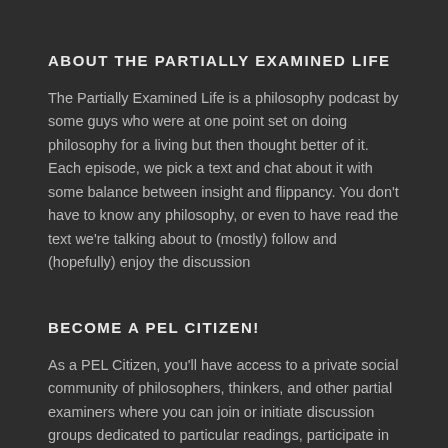ABOUT THE PARTIALLY EXAMINED LIFE
The Partially Examined Life is a philosophy podcast by some guys who were at one point set on doing philosophy for a living but then thought better of it. Each episode, we pick a text and chat about it with some balance between insight and flippancy. You don't have to know any philosophy, or even to have read the text we're talking about to (mostly) follow and (hopefully) enjoy the discussion
BECOME A PEL CITIZEN!
As a PEL Citizen, you'll have access to a private social community of philosophers, thinkers, and other partial examiners where you can join or initiate discussion groups dedicated to particular readings, participate in lively forums, arrange online meet-ups for impromptu seminars, and more. PEL Citizens also have free